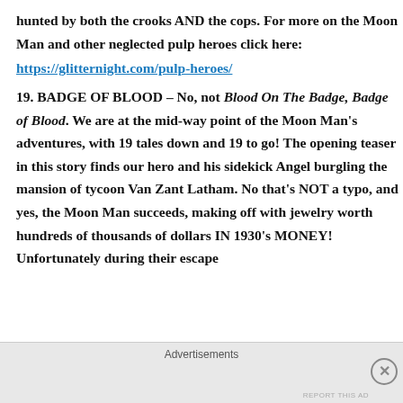hunted by both the crooks AND the cops. For more on the Moon Man and other neglected pulp heroes click here:
https://glitternight.com/pulp-heroes/
19. BADGE OF BLOOD – No, not Blood On The Badge, Badge of Blood. We are at the mid-way point of the Moon Man's adventures, with 19 tales down and 19 to go! The opening teaser in this story finds our hero and his sidekick Angel burgling the mansion of tycoon Van Zant Latham. No that's NOT a typo, and yes, the Moon Man succeeds, making off with jewelry worth hundreds of thousands of dollars IN 1930's MONEY! Unfortunately during their escape
Advertisements